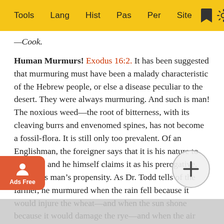Tools | Lang | Hist | Pas | Per | Site
—Cook.
Human Murmurs! Exodus 16:2. It has been suggested that murmuring must have been a malady characteristic of the Hebrew people, or else a disease peculiar to the desert. They were always murmuring. And such is man! The noxious weed—the root of bitterness, with its cleaving burrs and envenomed spines, has not become a fossil-flora. It is still only too prevalent. Of an Englishman, the foreigner says that it is his nature to grumble, and he himself claims it as his prerogative. Alas! it is man's propensity. As Dr. Todd tells of the farmer, he murmured when the rain fell because it would injure the wheat—and when the sun shone because it would damage the rye—and when the air was cold because it would [damage] the grass. He thought himself the one especial targ[et whose] prosperity and peace Nature was bent on a perpetual flight [from. And yet, So] [do] [all. And a man who frets] not only t[hat but...] [the]re is a desig[n...] [H]e